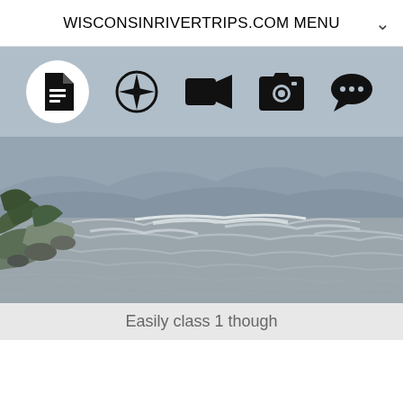WISCONSINRIVERTRIPS.COM MENU
[Figure (screenshot): Navigation icon toolbar with five icons: document/text icon (highlighted in white circle), compass/navigation icon, video camera icon, photo camera icon, speech bubble/chat icon, on a blue-grey background]
[Figure (photo): Photograph of a river with rapids, rocks and green vegetation on the left bank, grey cloudy sky and hills in background]
Easily class 1 though